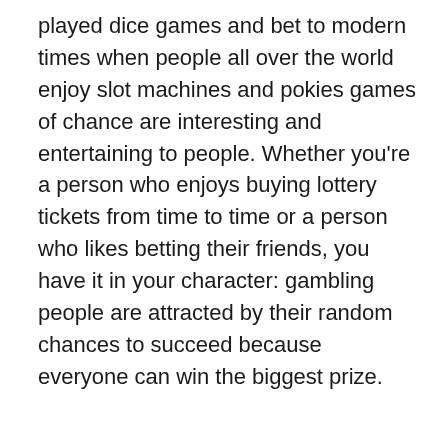played dice games and bet to modern times when people all over the world enjoy slot machines and pokies games of chance are interesting and entertaining to people. Whether you're a person who enjoys buying lottery tickets from time to time or a person who likes betting their friends, you have it in your character: gambling people are attracted by their random chances to succeed because everyone can win the biggest prize.
Demand creates supply, so there are lots of kinds of casino games you can enjoy: modern gamblers play cards, dice, pokies, they enjoy sports betting and take part in raffles buying lottery tickets. Some old-school games change to satisfy modern gamblers' needs while others are chosen by the latest generation still